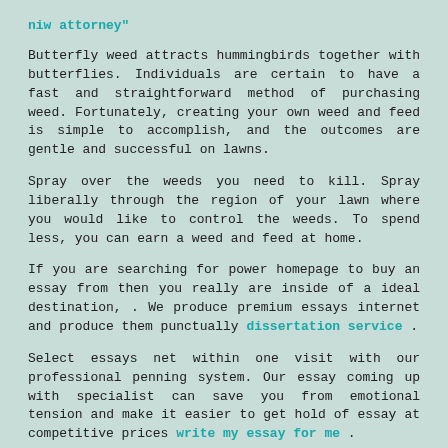niw attorney"
Butterfly weed attracts hummingbirds together with butterflies. Individuals are certain to have a fast and straightforward method of purchasing weed. Fortunately, creating your own weed and feed is simple to accomplish, and the outcomes are gentle and successful on lawns.
Spray over the weeds you need to kill. Spray liberally through the region of your lawn where you would like to control the weeds. To spend less, you can earn a weed and feed at home.
If you are searching for power homepage to buy an essay from then you really are inside of a ideal destination, . We produce premium essays internet and produce them punctually dissertation service .
Select essays net within one visit with our professional penning system. Our essay coming up with specialist can save you from emotional tension and make it easier to get hold of essay at competitive prices write my essay for me .
Every person nowadays does should publish an essay on his college or university living. Pay money for essay or compose it all by yourself. Discover why you can use each of those essay writing help .